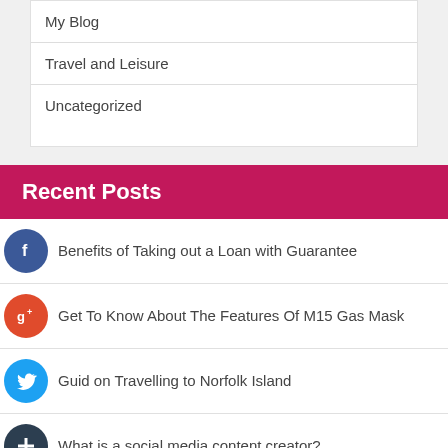My Blog
Travel and Leisure
Uncategorized
Recent Posts
Benefits of Taking out a Loan with Guarantee
Get To Know About The Features Of M15 Gas Mask
Guid on Travelling to Norfolk Island
What is a social media content creator?
How To Find An Implant Dentist In Brooklyn?